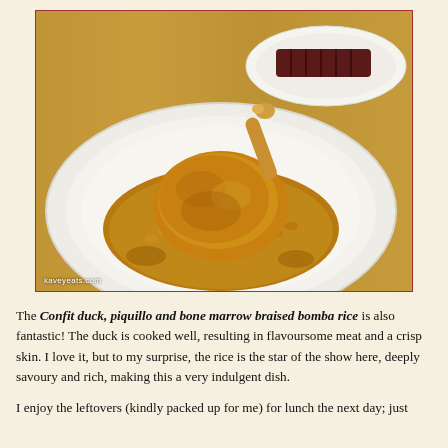[Figure (photo): A white plate with confit duck leg served on top of braised bomba rice in a rich brown sauce. In the background, another plate with sliced duck breast is partially visible. The dish is photographed on a wooden table surface. Watermark reads kaveyeats.com]
The Confit duck, piquillo and bone marrow braised bomba rice is also fantastic! The duck is cooked well, resulting in flavoursome meat and a crisp skin. I love it, but to my surprise, the rice is the star of the show here, deeply savoury and rich, making this a very indulgent dish.
I enjoy the leftovers (kindly packed up for me) for lunch the next day; just